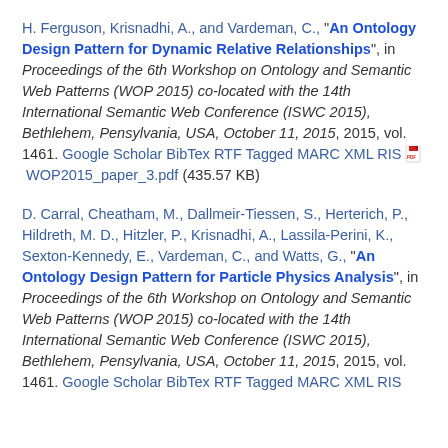H. Ferguson, Krisnadhi, A., and Vardeman, C., "An Ontology Design Pattern for Dynamic Relative Relationships", in Proceedings of the 6th Workshop on Ontology and Semantic Web Patterns (WOP 2015) co-located with the 14th International Semantic Web Conference (ISWC 2015), Bethlehem, Pensylvania, USA, October 11, 2015, 2015, vol. 1461. Google Scholar BibTex RTF Tagged MARC XML RIS [PDF] WOP2015_paper_3.pdf (435.57 KB)
D. Carral, Cheatham, M., Dallmeir-Tiessen, S., Herterich, P., Hildreth, M. D., Hitzler, P., Krisnadhi, A., Lassila-Perini, K., Sexton-Kennedy, E., Vardeman, C., and Watts, G., "An Ontology Design Pattern for Particle Physics Analysis", in Proceedings of the 6th Workshop on Ontology and Semantic Web Patterns (WOP 2015) co-located with the 14th International Semantic Web Conference (ISWC 2015), Bethlehem, Pensylvania, USA, October 11, 2015, 2015, vol. 1461. Google Scholar BibTex RTF Tagged MARC XML RIS